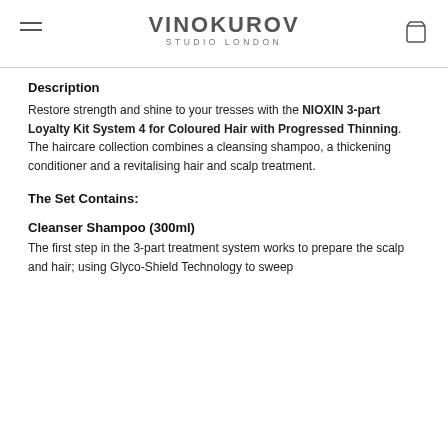VINOKUROV STUDIO LONDON
Description
Restore strength and shine to your tresses with the NIOXIN 3-part Loyalty Kit System 4 for Coloured Hair with Progressed Thinning. The haircare collection combines a cleansing shampoo, a thickening conditioner and a revitalising hair and scalp treatment.
The Set Contains:
Cleanser Shampoo (300ml)
The first step in the 3-part treatment system works to prepare the scalp and hair; using Glyco-Shield Technology to sweep away dirt, impurities and excess oil from the scalp and hair.